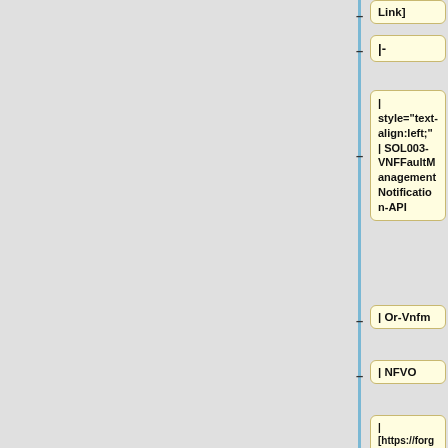Link]
|-
| style="text-align:left;" | SOL003-VNFFaultManagementNotification-API
| Or-Vnfm
| NFVO
| [https://forge.etsi.org/jenkins/job/NFV%20-%20Network%20Functions%20Virtualisation/job/sol002-sol003-master/lastSucc